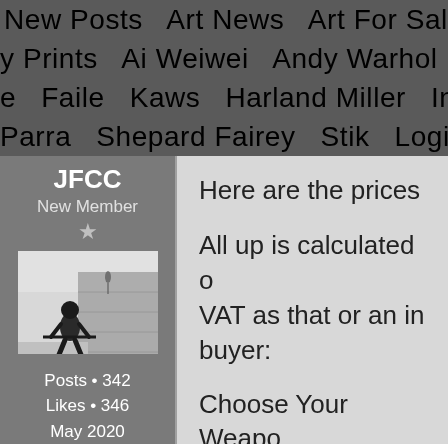New Posts   Art News   Art For Sale   Art A...   ...y Prints   Ai Weiwei   Andy Warhol   Cleon...   ...e   Faile   Kaws   Harland Miller   Invader...   ...Parra   Shepard Fairey   Stik   Login   Reg...
JFCC
New Member
[Figure (photo): Black and white photo of a cyclist viewed from behind, riding along a wall in foggy/misty conditions]
Posts • 342
Likes • 346
May 2020
Here are the prices
All up is calculated ... VAT as that or an in... buyer:
Choose Your Weap... up
Laugh Now (eB... ▲)